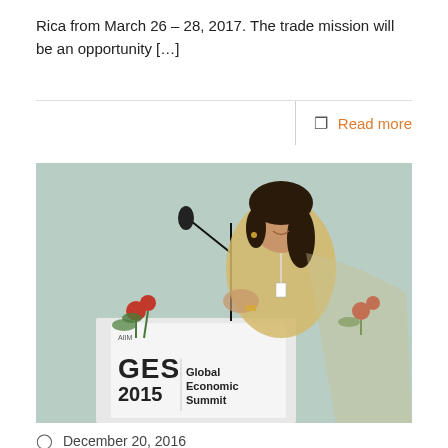Rica from March 26 – 28, 2017. The trade mission will be an opportunity […]
Read more
[Figure (photo): A woman speaking at a podium with a microphone at the Global Economic Summit 2015 (GES 2015). The podium displays logos including AIIM and text 'GES 2015 Global Economic Summit'. Red flowers are visible on the podium.]
December 20, 2016